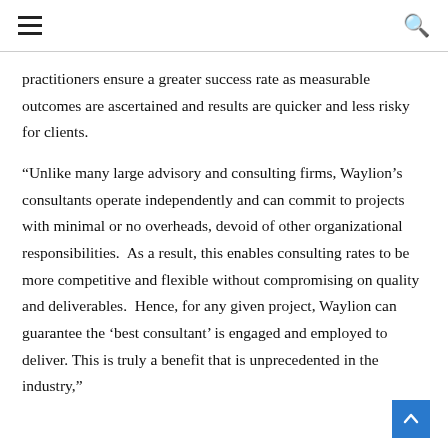☰ [menu] [search]
practitioners ensure a greater success rate as measurable outcomes are ascertained and results are quicker and less risky for clients.
“Unlike many large advisory and consulting firms, Waylion’s consultants operate independently and can commit to projects with minimal or no overheads, devoid of other organizational responsibilities.  As a result, this enables consulting rates to be more competitive and flexible without compromising on quality and deliverables.  Hence, for any given project, Waylion can guarantee the ‘best consultant’ is engaged and employed to deliver. This is truly a benefit that is unprecedented in the industry,”